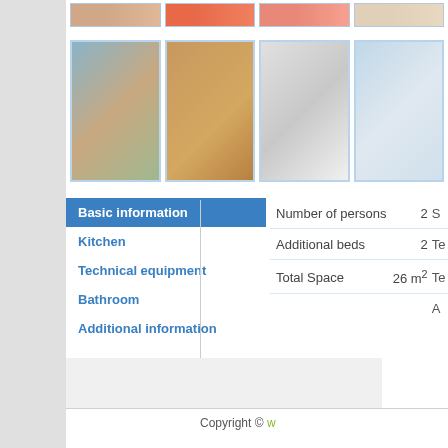[Figure (photo): Row of partially visible apartment photos at top of page]
[Figure (photo): Exterior view of building with mountains/sea in background]
[Figure (photo): Interior room with table and chairs]
[Figure (photo): Kitchen interior]
[Figure (photo): Bathroom with blue shower curtain]
Basic information
Kitchen
Technical equipment
Bathroom
Additional information
|  |  |  |
| --- | --- | --- |
| Number of persons | 2 | S |
| Additional beds | 2 | Te |
| Total Space | 26 m² | Te |
Copyright © w